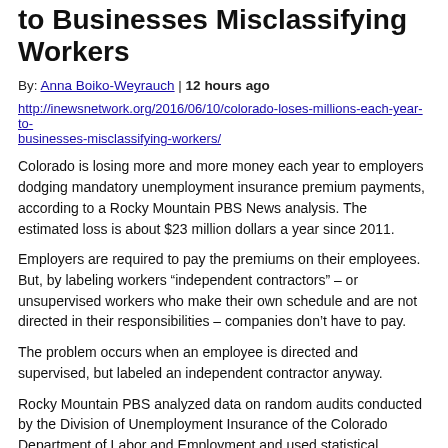to Businesses Misclassifying Workers
By: Anna Boiko-Weyrauch | 12 hours ago
http://inewsnetwork.org/2016/06/10/colorado-loses-millions-each-year-to-businesses-misclassifying-workers/
Colorado is losing more and more money each year to employers dodging mandatory unemployment insurance premium payments, according to a Rocky Mountain PBS News analysis. The estimated loss is about $23 million dollars a year since 2011.
Employers are required to pay the premiums on their employees. But, by labeling workers “independent contractors” – or unsupervised workers who make their own schedule and are not directed in their responsibilities – companies don’t have to pay.
The problem occurs when an employee is directed and supervised, but labeled an independent contractor anyway.
Rocky Mountain PBS analyzed data on random audits conducted by the Division of Unemployment Insurance of the Colorado Department of Labor and Employment and used statistical methods to estimate the rate of misclassification and unpaid premiums to the state as a whole. The results were validated by two statisticians who are officers of the Colorado-Wyoming chapter of the American Statistical Association.
The state lost an estimated $114 million to $124 million since 2011 and the rate of misclassified workers has more than doubled, from at least 6 percent of the work force to at least 13 percent, according to the analysis. The average amount of unpaid premiums has also nearly doubled from at least $69 to $124